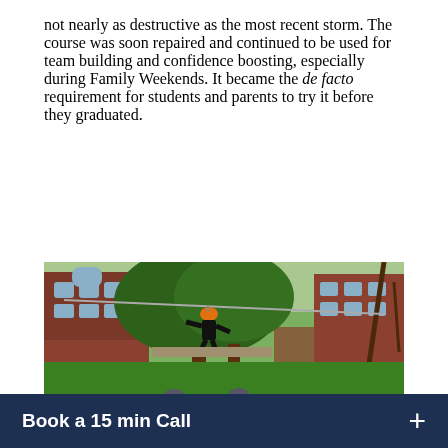not nearly as destructive as the most recent storm. The course was soon repaired and continued to be used for team building and confidence boosting, especially during Family Weekends. It became the de facto requirement for students and parents to try it before they graduated.
[Figure (photo): A person wearing an orange helmet rides a zip line across a green campus lawn, with red brick buildings and large trees in the background.]
Book a 15 min Call +